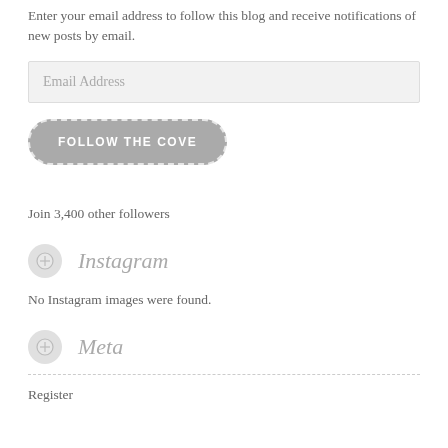Enter your email address to follow this blog and receive notifications of new posts by email.
Email Address
[Figure (other): FOLLOW THE COVE button - rounded pill-shaped grey button with dashed white border and white uppercase text]
Join 3,400 other followers
Instagram
No Instagram images were found.
Meta
Register